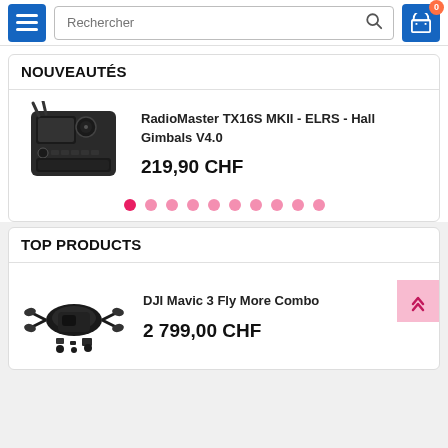Rechercher
NOUVEAUTÉS
[Figure (photo): RadioMaster TX16S MKII radio transmitter controller]
RadioMaster TX16S MKII - ELRS - Hall Gimbals V4.0
219,90 CHF
TOP PRODUCTS
[Figure (photo): DJI Mavic 3 Fly More Combo drone]
DJI Mavic 3 Fly More Combo
2 799,00 CHF